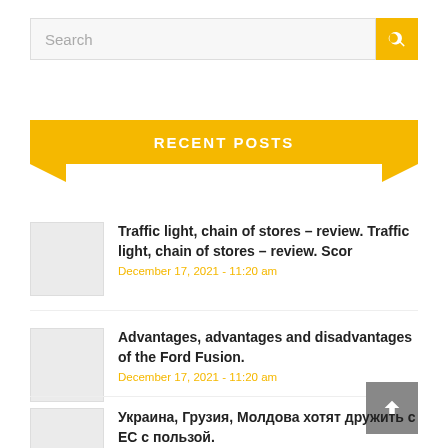Search
RECENT POSTS
Traffic light, chain of stores – review. Traffic light, chain of stores – review. Scor
December 17, 2021 - 11:20 am
Advantages, advantages and disadvantages of the Ford Fusion.
December 17, 2021 - 11:20 am
Украина, Грузия, Молдова хотят дружить с ЕС с пользой.